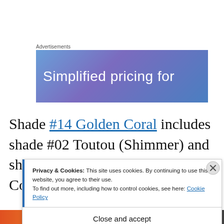Advertisements
[Figure (illustration): Advertisement banner with blue-purple gradient background and white text reading 'Simplified pricing for']
Shade #14 Golden Coral includes shade #02 Toutou (Shimmer) and shade and shade #09 Golden Coral
Privacy & Cookies: This site uses cookies. By continuing to use this website, you agree to their use.
To find out more, including how to control cookies, see here: Cookie Policy
Close and accept